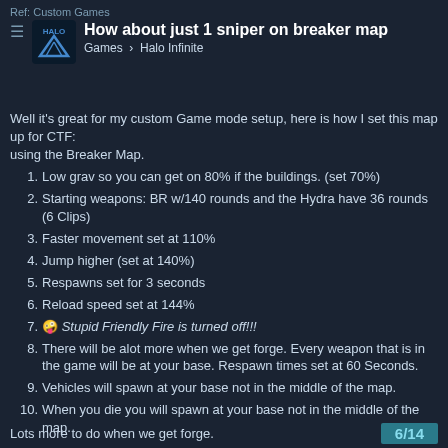Ref: Custom Games
How about just 1 sniper on breaker map
Games › Halo Infinite
Well it's great for my custom Game mode setup, here is how I set this map up for CTF:
using the Breaker Map.
Low grav so you can get on 80% if the buildings. (set 70%)
Starting weapons: BR w/140 rounds and the Hydra have 36 rounds (6 Clips)
Faster movement set at 110%
Jump higher (set at 140%)
Respawns set for 3 seconds
Reload speed set at 144%
🤪 Stupid Friendly Fire is turned off!!!
There will be alot more when we get forge. Every weapon that is in the game will be at your base. Respawn times set at 60 Seconds.
Vehicles will spawn at your base not in the middle of the map.
When you die you will spawn at your base not in the middle of the map.
Lots more to do when we get forge.
6/14